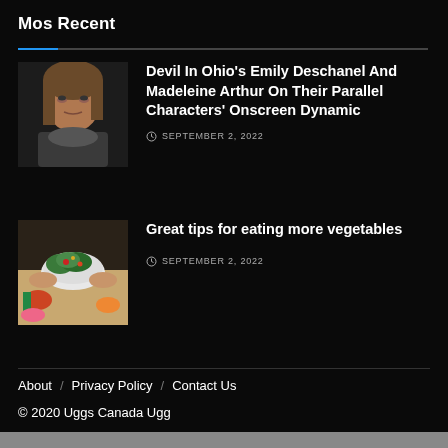Mos Recent
[Figure (photo): Portrait of a woman looking upward, dark background, appears to be a scene from a TV show]
Devil In Ohio’s Emily Deschanel And Madeleine Arthur On Their Parallel Characters’ Onscreen Dynamic
SEPTEMBER 2, 2022
[Figure (photo): Hands holding a bowl of salad with vegetables on a table with various food items]
Great tips for eating more vegetables
SEPTEMBER 2, 2022
About / Privacy Policy / Contact Us
© 2020 Uggs Canada Ugg